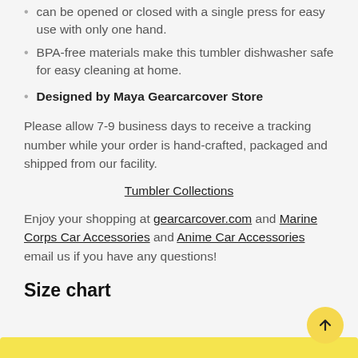can be opened or closed with a single press for easy use with only one hand.
BPA-free materials make this tumbler dishwasher safe for easy cleaning at home.
Designed by Maya Gearcarcover Store
Please allow 7-9 business days to receive a tracking number while your order is hand-crafted, packaged and shipped from our facility.
Tumbler Collections
Enjoy your shopping at gearcarcover.com and Marine Corps Car Accessories and Anime Car Accessories email us if you have any questions!
Size chart